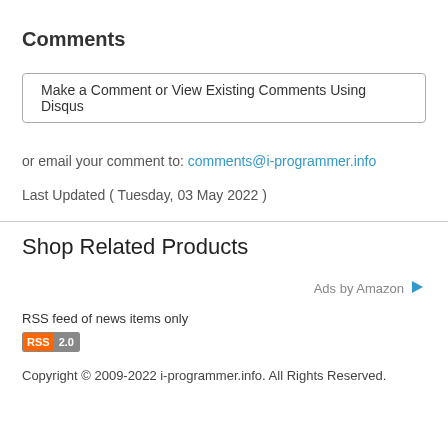Comments
Make a Comment or View Existing Comments Using Disqus
or email your comment to: comments@i-programmer.info
Last Updated ( Tuesday, 03 May 2022 )
Shop Related Products
Ads by Amazon
RSS feed of news items only
[Figure (logo): RSS 2.0 badge logo]
Copyright © 2009-2022 i-programmer.info. All Rights Reserved.